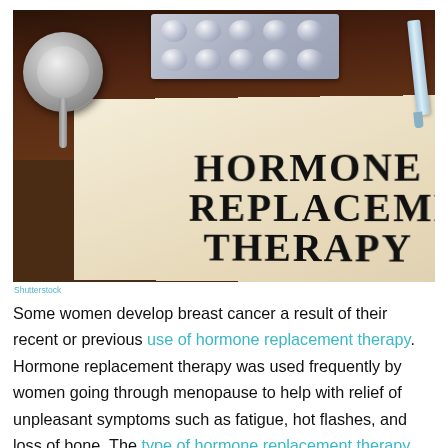[Figure (photo): Photo of an open book with bold text reading HORMONE REPLACEMENT THERAPY, alongside a stethoscope, blister pack of pills, and a syringe on a dark wooden surface.]
Shutterstock
Some women develop breast cancer a result of their recent or previous use of hormone replacement therapy. Hormone replacement therapy was used frequently by women going through menopause to help with relief of unpleasant symptoms such as fatigue, hot flashes, and loss of bone. The type of hormone replacement therapy that increases an individual's breast cancer risk the most is called combination HRT, made from estrogen and progesterone. Even when combination HRT